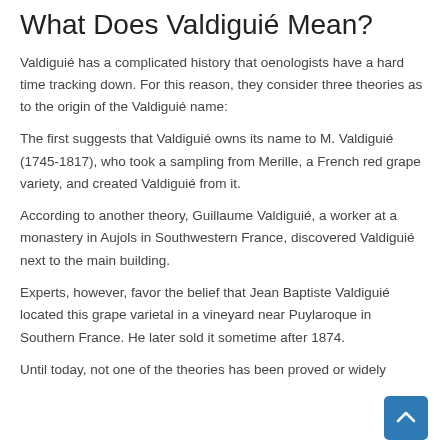What Does Valdiguié Mean?
Valdiguié has a complicated history that oenologists have a hard time tracking down. For this reason, they consider three theories as to the origin of the Valdiguié name:
The first suggests that Valdiguié owns its name to M. Valdiguié (1745-1817), who took a sampling from Merille, a French red grape variety, and created Valdiguié from it.
According to another theory, Guillaume Valdiguié, a worker at a monastery in Aujols in Southwestern France, discovered Valdiguié next to the main building.
Experts, however, favor the belief that Jean Baptiste Valdiguié located this grape varietal in a vineyard near Puylaroque in Southern France. He later sold it sometime after 1874.
Until today, not one of the theories has been proved or widely